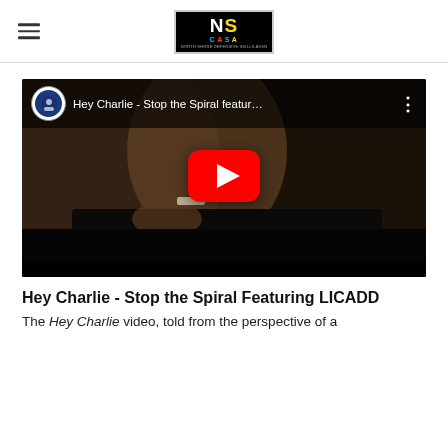NS CASA
[Figure (screenshot): YouTube video thumbnail showing a man holding pills close to his face against a dark background. Video title: 'Hey Charlie - Stop the Spiral featur...' with YouTube play button overlay.]
Hey Charlie - Stop the Spiral Featuring LICADD
The Hey Charlie video, told from the perspective of a